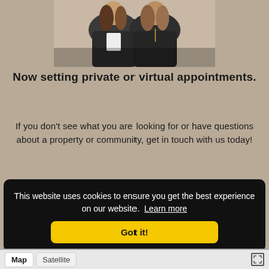[Figure (photo): Two women standing together, both wearing dark jackets, photographed from waist up against a light background]
Now setting private or virtual appointments.
If you don't see what you are looking for or have questions about a property or community, get in touch with us today!
This website uses cookies to ensure you get the best experience on our website. Learn more
Got it!
Map  Satellite